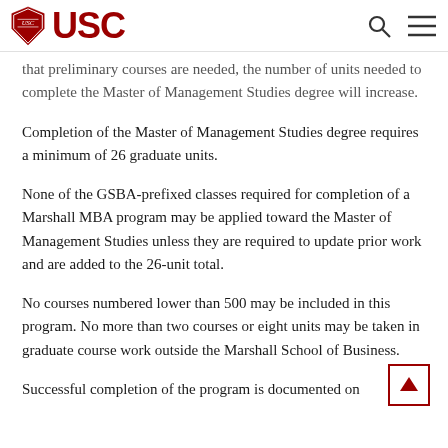USC
that preliminary courses are needed, the number of units needed to complete the Master of Management Studies degree will increase.
Completion of the Master of Management Studies degree requires a minimum of 26 graduate units.
None of the GSBA-prefixed classes required for completion of a Marshall MBA program may be applied toward the Master of Management Studies unless they are required to update prior work and are added to the 26-unit total.
No courses numbered lower than 500 may be included in this program. No more than two courses or eight units may be taken in graduate course work outside the Marshall School of Business.
Successful completion of the program is documented on